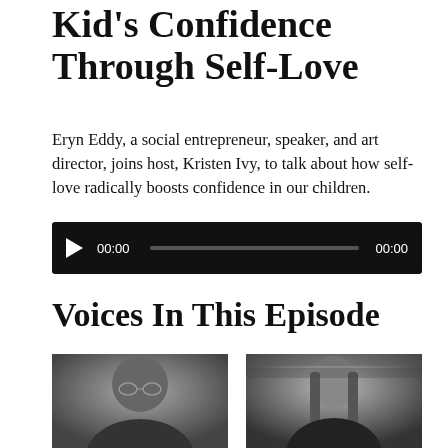Kid's Confidence Through Self-Love
Eryn Eddy, a social entrepreneur, speaker, and art director, joins host, Kristen Ivy, to talk about how self-love radically boosts confidence in our children.
[Figure (other): Audio player with play button, time 00:00, progress bar, and end time 00:00 on dark background]
Voices In This Episode
[Figure (photo): Black and white photo of a bald man with glasses wearing a black t-shirt, smiling]
[Figure (photo): Black and white photo of a woman with long hair smiling, in front of bookshelves]